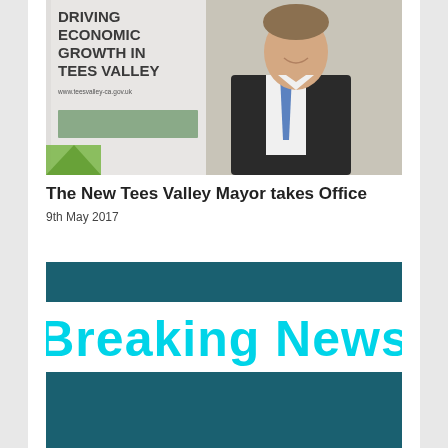[Figure (photo): A man in a dark suit and blue tie standing in front of a Tees Valley Combined Authority pull-up banner that reads 'Driving Economic Growth in Tees Valley' with website www.teesvalley-ca.gov.uk]
The New Tees Valley Mayor takes Office
9th May 2017
[Figure (infographic): Breaking News graphic with teal/dark teal background bars and cyan 'Breaking News' text in the middle]